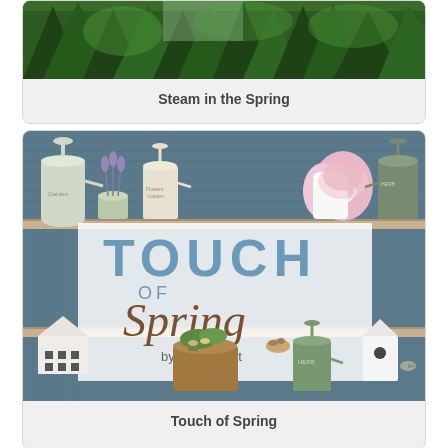[Figure (photo): Top portion of a nature/steam scene with green forest trees, partially cropped at top of page]
Steam in the Spring
[Figure (illustration): Garden shelf fabric/illustration showing watering cans, pots, birdhouse, and other garden items on shelves with blue-teal background, overlaid with a semi-transparent white box containing the 'Touch of Spring by Beth Albert' logo]
Touch of Spring